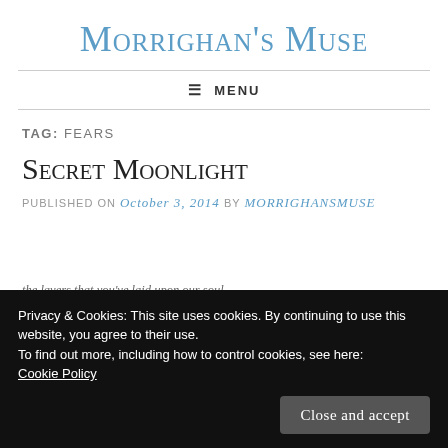Morrighan's Muse
≡ MENU
TAG: FEARS
Secret Moonlight
PUBLISHED ON October 3, 2014 by MorrighansMuse
Privacy & Cookies: This site uses cookies. By continuing to use this website, you agree to their use. To find out more, including how to control cookies, see here: Cookie Policy
the layers that you've laid upon our soul